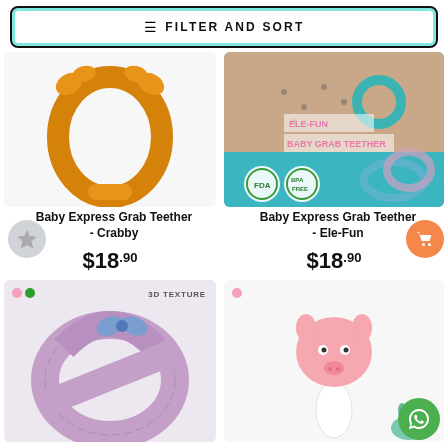FILTER AND SORT
[Figure (photo): Orange crab-shaped silicone baby grab teether on white background]
Baby Express Grab Teether - Crabby
$18.90
[Figure (photo): Baby holding Ele-Fun grab teether rings, product packaging showing FDA and BPA Free badges]
Baby Express Grab Teether - Ele-Fun
$18.90
[Figure (photo): Purple/pink 3D texture silicone ring teether with blue bow, labeled 3D TEXTURE]
[Figure (photo): Pink giraffe-shaped silicone teether toy on white background]